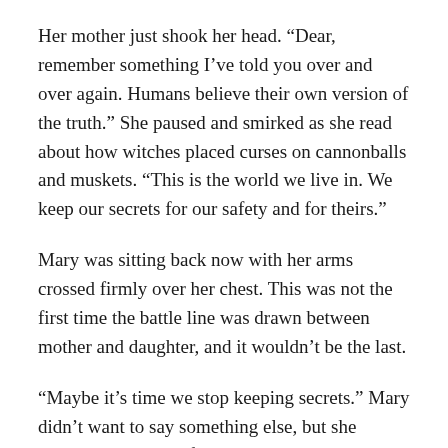Her mother just shook her head. “Dear, remember something I’ve told you over and over again. Humans believe their own version of the truth.” She paused and smirked as she read about how witches placed curses on cannonballs and muskets. “This is the world we live in. We keep our secrets for our safety and for theirs.”
Mary was sitting back now with her arms crossed firmly over her chest. This was not the first time the battle line was drawn between mother and daughter, and it wouldn’t be the last.
“Maybe it’s time we stop keeping secrets.” Mary didn’t want to say something else, but she couldn’t help herself. “Maybe it’s time we stop being scared.”
Her mother just shook her head. “We’ve been over this. If humans knew we had magic, bad things would happen.